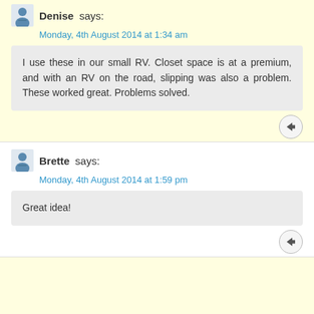Denise says:
Monday, 4th August 2014 at 1:34 am
I use these in our small RV. Closet space is at a premium, and with an RV on the road, slipping was also a problem. These worked great. Problems solved.
Brette says:
Monday, 4th August 2014 at 1:59 pm
Great idea!